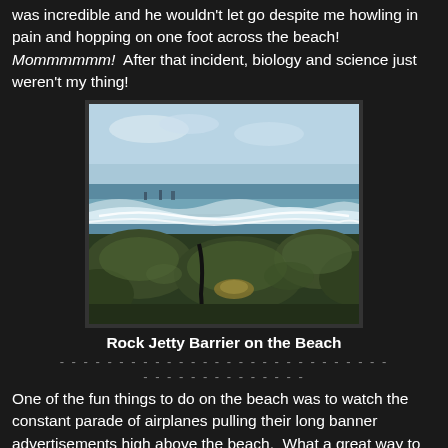was incredible and he wouldn't let go despite me howling in pain and hopping on one foot across the beach! Mommmmmm! After that incident, biology and science just weren't my thing!
[Figure (photo): Photograph of a rocky beach with green moss-covered rocks in the foreground, ocean waves and choppy water in the background, and a light blue sky. Some figures or structures are faintly visible in the water.]
Rock Jetty Barrier on the Beach
One of the fun things to do on the beach was to watch the constant parade of airplanes pulling their long banner advertisements high above the beach. What a great way to get your message out because you couldn't help but read them. One year we were watching a bright yellow bi-plane